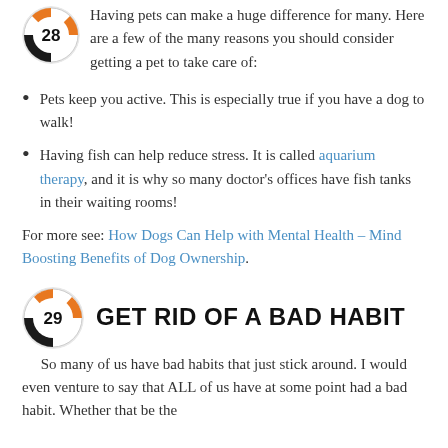[Figure (logo): Circular icon with number 28, orange and black design]
Having pets can make a huge difference for many. Here are a few of the many reasons you should consider getting a pet to take care of:
Pets keep you active. This is especially true if you have a dog to walk!
Having fish can help reduce stress. It is called aquarium therapy, and it is why so many doctor's offices have fish tanks in their waiting rooms!
For more see: How Dogs Can Help with Mental Health – Mind Boosting Benefits of Dog Ownership.
[Figure (logo): Circular icon with number 29, orange and black design]
GET RID OF A BAD HABIT
So many of us have bad habits that just stick around. I would even venture to say that ALL of us have at some point had a bad habit. Whether that be the